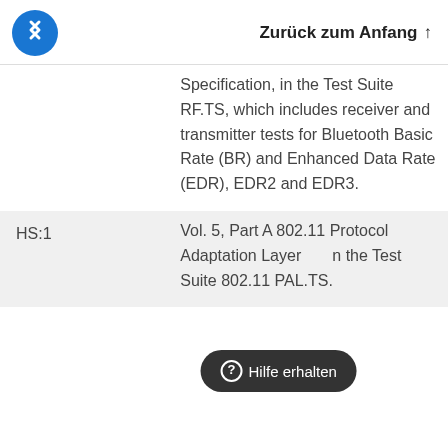Zurück zum Anfang ↑
|  | Specification, in the Test Suite RF.TS, which includes receiver and transmitter tests for Bluetooth Basic Rate (BR) and Enhanced Data Rate (EDR), EDR2 and EDR3. |
| HS:1 | Vol. 5, Part A 802.11 Protocol Adaptation Layer ... the Test Suite 802.11 PAL.TS. |
⊘ Hilfe erhalten